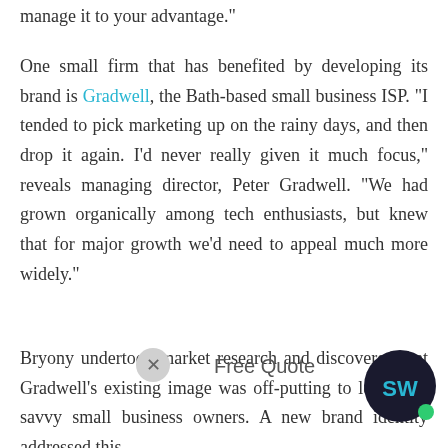manage it to your advantage."
One small firm that has benefited by developing its brand is Gradwell, the Bath-based small business ISP. "I tended to pick marketing up on the rainy days, and then drop it again. I'd never really given it much focus," reveals managing director, Peter Gradwell. "We had grown organically among tech enthusiasts, but knew that for major growth we'd need to appeal much more widely."
Bryony undertook market research and discovered that Gradwell's existing image was off-putting to less tech-savvy small business owners. A new brand identity addressed this.
"It was a really tough decision to spend money